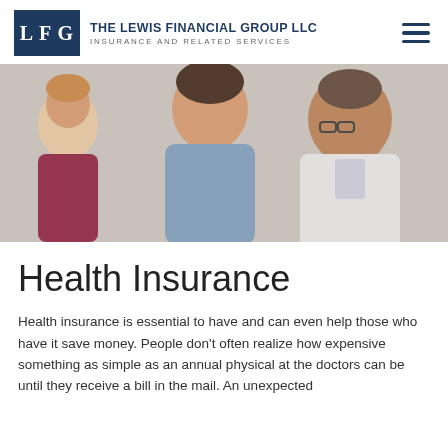[Figure (logo): The Lewis Financial Group LLC logo with LFG initials in a dark navy box and company name to the right]
[Figure (photo): A doctor in a white coat smiling at a young girl, with a woman (likely the mother) standing beside them in a medical setting]
Health Insurance
Health insurance is essential to have and can even help those who have it save money. People don't often realize how expensive something as simple as an annual physical at the doctors can be until they receive a bill in the mail. An unexpected